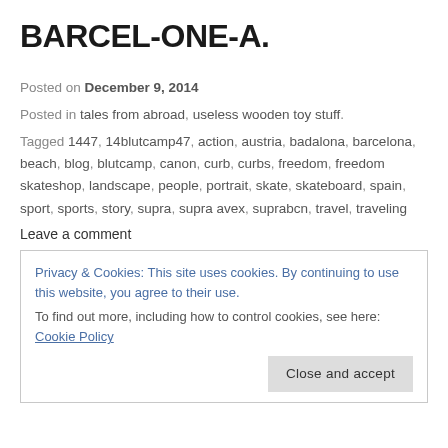BARCEL-ONE-A.
Posted on December 9, 2014
Posted in tales from abroad, useless wooden toy stuff.
Tagged 1447, 14blutcamp47, action, austria, badalona, barcelona, beach, blog, blutcamp, canon, curb, curbs, freedom, freedom skateshop, landscape, people, portrait, skate, skateboard, spain, sport, sports, story, supra, supra avex, suprabcn, travel, traveling
Leave a comment
Privacy & Cookies: This site uses cookies. By continuing to use this website, you agree to their use. To find out more, including how to control cookies, see here: Cookie Policy
Close and accept